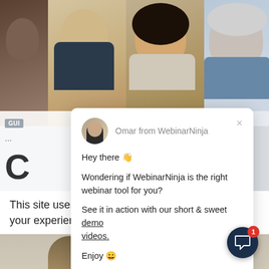[Figure (screenshot): Website screenshot background with three people smiling in a header photo, left sidebar with 'GUI' tag and large letter 'C', bottom cookie consent bar, and bottom strip with a person image and colorful UI text]
[Figure (screenshot): Chat popup card from Omar from WebinarNinja with avatar, close button, greeting text with wave emoji, message about WebinarNinja being right webinar tool, link to demo videos, and Enjoy with smiley emoji]
Omar from WebinarNinja
Hey there 👋

Wondering if WebinarNinja is the right webinar tool for you?

See it in action with our short & sweet demo videos.

Enjoy 😀
This site uses cookies to improve your experience. Learn more.